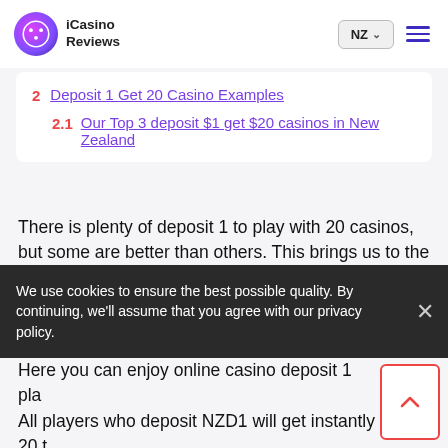iCasino Reviews | NZ
2  Deposit 1 Get 20 Casino Examples
2.1  Our Top 3 deposit $1 get $20 casinos in New Zealand
There is plenty of deposit 1 to play with 20 casinos, but some are better than others. This brings us to the next section. Here we will discuss the best online establishments of this kind in New Zealand, and we will reveal all the needed facts you should
We use cookies to ensure the best possible quality. By continuing, we'll assume that you agree with our privacy policy.
Here you can enjoy online casino deposit 1 play All players who deposit NZD1 will get instantly 20 t